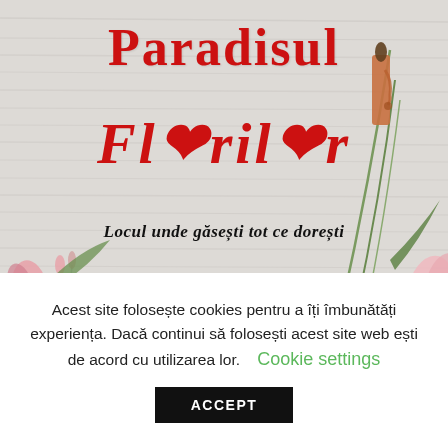[Figure (illustration): Hero banner with light gray/wood textured background featuring floral decorations — roses, green stems, candle with dripping wax, pink lily petals. Red decorative title 'Paradisul' in ornate serif font at top, and 'Florilor' in bold italic script below, with small red rose embellishments integrated into the letters.]
Paradisul
Florilor
Locul unde găsești tot ce dorești
Acest site folosește cookies pentru a îți îmbunătăți experiența. Dacă continui să folosești acest site web ești de acord cu utilizarea lor.
Cookie settings
ACCEPT